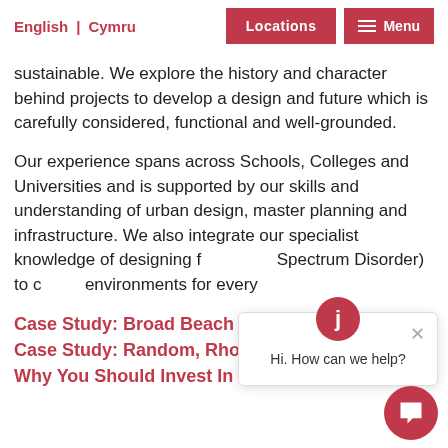English | Cymru   Locations   Menu
sustainable. We explore the history and character behind projects to develop a design and future which is carefully considered, functional and well-grounded.
Our experience spans across Schools, Colleges and Universities and is supported by our skills and understanding of urban design, master planning and infrastructure. We also integrate our specialist knowledge of designing f[...] Spectrum Disorder) to c[...] environments for every[...]
Case Study: Broad Beach House
Case Study: Random, Rhosneigr
Why You Should Invest In Good Design
[Figure (screenshot): Chat popup overlay with avatar showing letter J, close button (×), and greeting text 'Hi. How can we help?' along with a red circular chat FAB button at bottom right.]